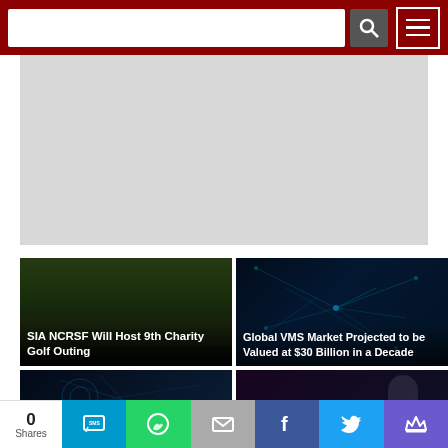Website header with search bar and navigation menu
[Figure (other): Gray advertisement placeholder area]
[Figure (photo): Golf carts on a golf course with people, outdoor daytime scene]
SIA NCRSF Will Host 9th Charity Golf Outing
[Figure (photo): Abstract blue network/technology background with glowing lines]
Global VMS Market Projected to be Valued at $30 Billion in a Decade
[Figure (photo): Dark blue abstract digital/tech background]
[Figure (photo): Dark purple/security themed background with text PHYSICAL SECURITY]
0 Shares — Share buttons: SMS, WhatsApp, Email, Facebook, Twitter, Crown